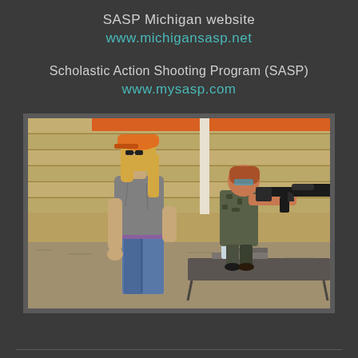SASP Michigan website
www.michigansasp.net
Scholastic Action Shooting Program (SASP)
www.mysasp.com
[Figure (photo): Two people at an outdoor shooting range. A woman wearing an orange cap and gray t-shirt stands behind a younger shooter wearing camouflage who is aiming a black rifle. A folding table with gear is visible in the foreground, and a yellow wooden wall/backstop is in the background.]